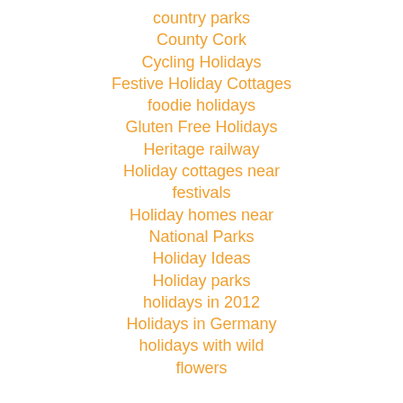country parks
County Cork
Cycling Holidays
Festive Holiday Cottages
foodie holidays
Gluten Free Holidays
Heritage railway
Holiday cottages near festivals
Holiday homes near National Parks
Holiday Ideas
Holiday parks
holidays in 2012
Holidays in Germany
holidays with wild flowers